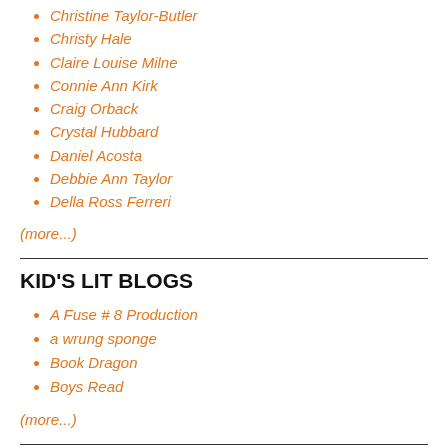Christine Taylor-Butler
Christy Hale
Claire Louise Milne
Connie Ann Kirk
Craig Orback
Crystal Hubbard
Daniel Acosta
Debbie Ann Taylor
Della Ross Ferreri
(more...)
KID'S LIT BLOGS
A Fuse # 8 Production
a wrung sponge
Book Dragon
Boys Read
(more...)